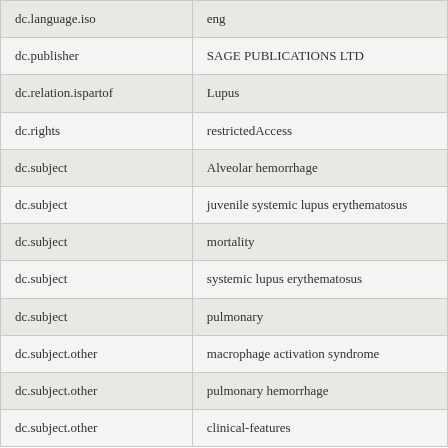|  |  |
| --- | --- |
| dc.language.iso | eng |
| dc.publisher | SAGE PUBLICATIONS LTD |
| dc.relation.ispartof | Lupus |
| dc.rights | restrictedAccess |
| dc.subject | Alveolar hemorrhage |
| dc.subject | juvenile systemic lupus erythematosus |
| dc.subject | mortality |
| dc.subject | systemic lupus erythematosus |
| dc.subject | pulmonary |
| dc.subject.other | macrophage activation syndrome |
| dc.subject.other | pulmonary hemorrhage |
| dc.subject.other | clinical-features |